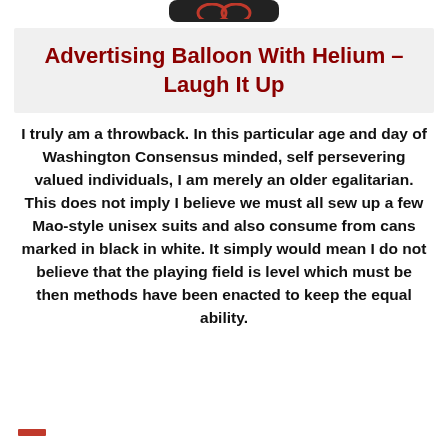[Figure (logo): Dark rounded rectangle bar at top center, resembling a logo or header graphic with curved accent shapes]
Advertising Balloon With Helium - Laugh It Up
I truly am a throwback. In this particular age and day of Washington Consensus minded, self persevering valued individuals, I am merely an older egalitarian. This does not imply I believe we must all sew up a few Mao-style unisex suits and also consume from cans marked in black in white. It simply would mean I do not believe that the playing field is level which must be then methods have been enacted to keep the equal ability.